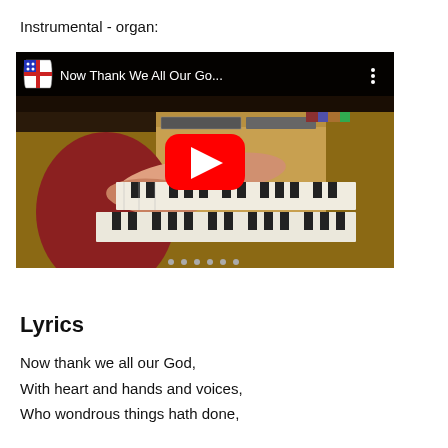Instrumental - organ:
[Figure (screenshot): YouTube video thumbnail showing a person playing an organ, with Episcopal shield logo and title 'Now Thank We All Our Go...' in the top bar, and a red YouTube play button in the center.]
Lyrics
Now thank we all our God,
With heart and hands and voices,
Who wondrous things hath done,